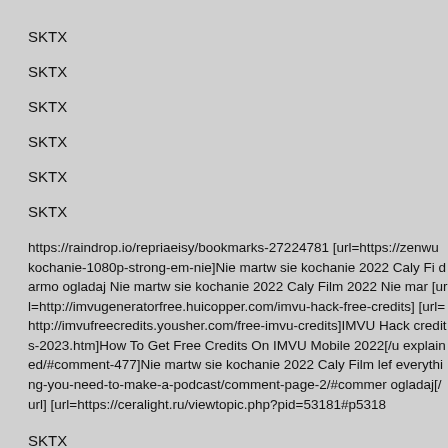SKTX
SKTX
SKTX
SKTX
SKTX
SKTX
https://raindrop.io/repriaeisy/bookmarks-27224781 [url=https://zenwu... kochanie-1080p-strong-em-nie]Nie martw sie kochanie 2022 Caly Fi... darmo ogladaj Nie martw sie kochanie 2022 Caly Film 2022 Nie mar... [url=http://imvugeneratorfree.huicopper.com/imvu-hack-free-credits]... [url=http://imvufreecredits.yousher.com/free-imvu-credits]IMVU Hack... credits-2023.htm]How To Get Free Credits On IMVU Mobile 2022[/u... explained/#comment-477]Nie martw sie kochanie 2022 Caly Film lef... everything-you-need-to-make-a-podcast/comment-page-2/#commen... ogladaj[/url] [url=https://ceralight.ru/viewtopic.php?pid=53181#p5318...
SKTX
SKTX